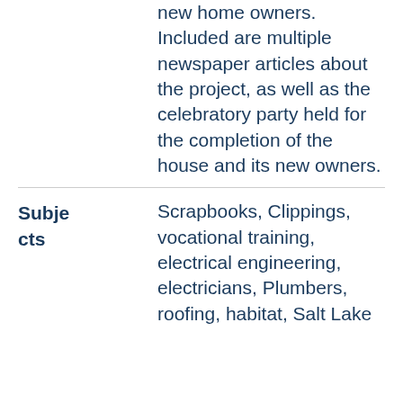new home owners. Included are multiple newspaper articles about the project, as well as the celebratory party held for the completion of the house and its new owners.
Subjects: Scrapbooks, Clippings, vocational training, electrical engineering, electricians, Plumbers, roofing, habitat, Salt Lake Community College